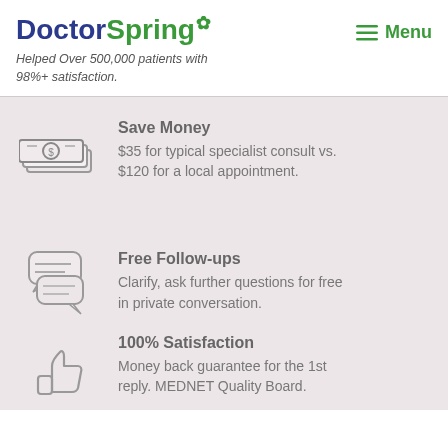DoctorSpring
Helped Over 500,000 patients with 98%+ satisfaction.
Save Money
$35 for typical specialist consult vs. $120 for a local appointment.
Free Follow-ups
Clarify, ask further questions for free in private conversation.
100% Satisfaction
Money back guarantee for the 1st reply. MEDNET Quality Board.